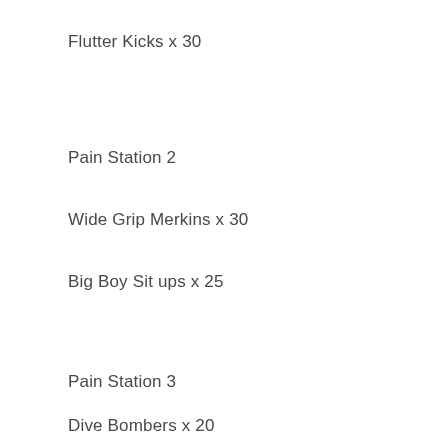Flutter Kicks x 30
Pain Station 2
Wide Grip Merkins x 30
Big Boy Sit ups x 25
Pain Station 3
Dive Bombers x 20